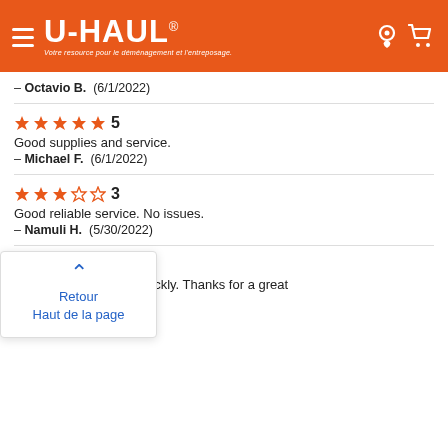U-HAUL® Votre resource pour le déménagement et l'entreposage.
— Octavio B.  (6/1/2022)
★★★★★ 5
Good supplies and service.
— Michael F.  (6/1/2022)
★★★☆☆ 3
Good reliable service. No issues.
— Namuli H.  (5/30/2022)
★★★★★ 5
...t the truck easily and quickly. Thanks for a great
...2022)
[Figure (other): Retour / Haut de la page popup overlay with upward chevron arrow]